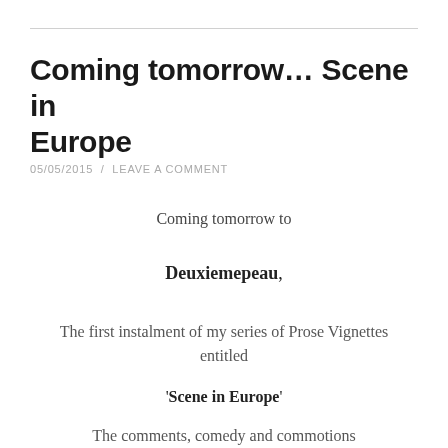Coming tomorrow… Scene in Europe
05/05/2015  /  LEAVE A COMMENT
Coming tomorrow to
Deuxiemepeau,
The first instalment of my series of Prose Vignettes entitled
'Scene in Europe'
The comments, comedy and commotions